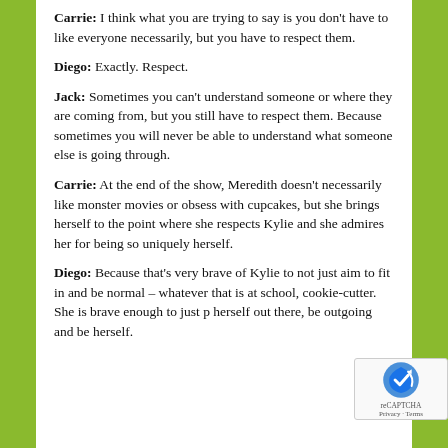Carrie: I think what you are trying to say is you don't have to like everyone necessarily, but you have to respect them.
Diego: Exactly. Respect.
Jack: Sometimes you can't understand someone or where they are coming from, but you still have to respect them. Because sometimes you will never be able to understand what someone else is going through.
Carrie: At the end of the show, Meredith doesn't necessarily like monster movies or obsess with cupcakes, but she brings herself to the point where she respects Kylie and she admires her for being so uniquely herself.
Diego: Because that's very brave of Kylie to not just aim to fit in and be normal – whatever that is at school, cookie-cutter. She is brave enough to just put herself out there, be outgoing and be herself.